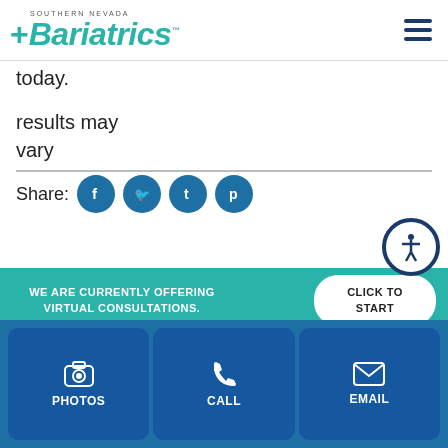[Figure (logo): Southern Nevada Bariatrics logo with teal plus sign and italic text]
today.
results may vary
Share:
[Figure (infographic): Social media share icons: Facebook, Twitter, Tumblr, Pinterest (blue circles)]
[Figure (photo): Partial photo strip showing person's hair/head against dark background]
WE ARE CURRENTLY OFFERING VIRTUAL CONSULTATIONS.
CLICK TO START
PHOTOS
CALL
EMAIL